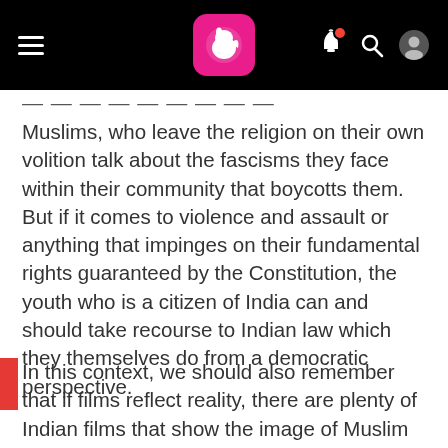[Navigation bar with hamburger menu, logo, notification bell, search, and profile icons]
Muslims, who leave the religion on their own volition talk about the fascisms they face within their community that boycotts them. But if it comes to violence and assault or anything that impinges on their fundamental rights guaranteed by the Constitution, the youth who is a citizen of India can and should take recourse to Indian law which they themselves do from a democratic perspective.
In this context, we should also remember that if films reflect reality, there are plenty of Indian films that show the image of Muslim girls leaving their houses in pardah or hijab, and taking it off to pursue their aesthetic and artistic interests or when they chill with